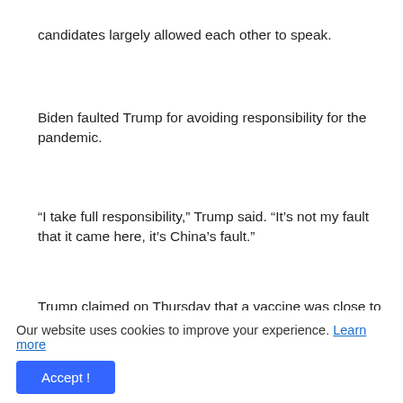candidates largely allowed each other to speak.
Biden faulted Trump for avoiding responsibility for the pandemic.
“I take full responsibility,” Trump said. “It’s not my fault that it came here, it’s China’s fault.”
Trump claimed on Thursday that a vaccine was close to ready, saying approval would be announced within “weeks” before acknowledging that it was not a guarantee. Most experts, including administration officials, have said a vaccine is unlikely
Our website uses cookies to improve your experience. Learn more
Accept !